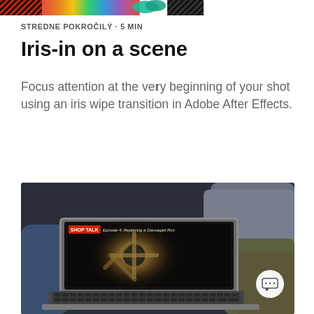[Figure (illustration): Colorful banner strip with Adobe Creative Cloud branding colors — gradient rainbow stripe, teal/green blobs, diagonal hatch pattern]
STREDNE POKROČILÝ · 5 MIN
Iris-in on a scene
Focus attention at the very beginning of your shot using an iris wipe transition in Adobe After Effects.
[Figure (photo): Person sitting on grey sofa holding a laptop showing a video tutorial with text 'SHOP TALK Episode 4: Replacing a Damaged Rim' and a blurred spinning wheel image on screen. A chat bubble button is visible in the bottom right.]